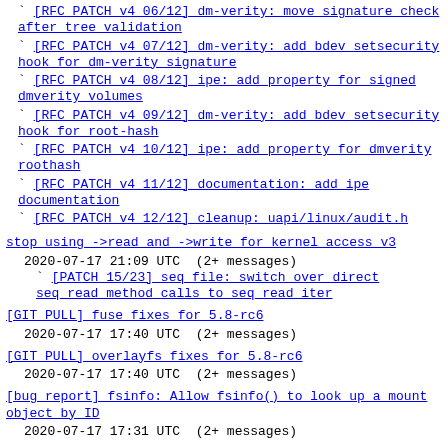` [RFC PATCH v4 06/12] dm-verity: move signature check after tree validation
` [RFC PATCH v4 07/12] dm-verity: add bdev setsecurity hook for dm-verity signature
` [RFC PATCH v4 08/12] ipe: add property for signed dmverity volumes
` [RFC PATCH v4 09/12] dm-verity: add bdev setsecurity hook for root-hash
` [RFC PATCH v4 10/12] ipe: add property for dmverity roothash
` [RFC PATCH v4 11/12] documentation: add ipe documentation
` [RFC PATCH v4 12/12] cleanup: uapi/linux/audit.h
stop using ->read and ->write for kernel access v3
2020-07-17 21:09 UTC  (2+ messages)
` [PATCH 15/23] seq_file: switch over direct seq_read method calls to seq_read_iter
[GIT PULL] fuse fixes for 5.8-rc6
2020-07-17 17:40 UTC  (2+ messages)
[GIT PULL] overlayfs fixes for 5.8-rc6
2020-07-17 17:40 UTC  (2+ messages)
[bug report] fsinfo: Allow fsinfo() to look up a mount object by ID
2020-07-17 17:31 UTC  (2+ messages)
KASAN: use-after-free Read in userfaultfd_release (2)